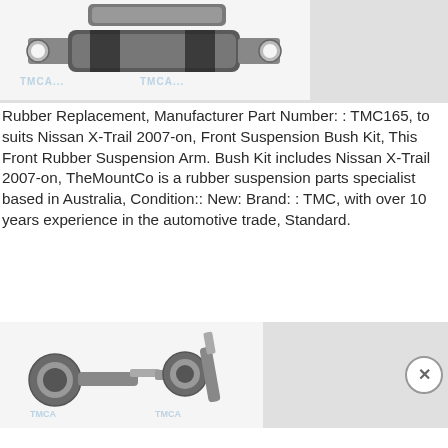[Figure (photo): Photo of a rubber suspension bush/bushing part for Nissan X-Trail, showing a cylindrical rubber bushing with metal end plates and bolt holes. Watermark text visible.]
Rubber Replacement, Manufacturer Part Number: : TMC165, to suits Nissan X-Trail 2007-on, Front Suspension Bush Kit, This Front Rubber Suspension Arm. Bush Kit includes Nissan X-Trail 2007-on, TheMountCo is a rubber suspension parts specialist based in Australia, Condition:: New: Brand: : TMC, with over 10 years experience in the automotive trade, Standard.
[Figure (photo): Photo of two rubber suspension ball joint / link parts (bolt-type bushings) for automotive suspension. Watermark text visible.]